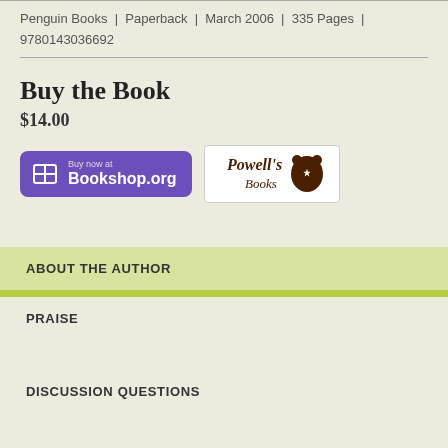Penguin Books | Paperback | March 2006 | 335 Pages | 9780143036692
Buy the Book
$14.00
[Figure (logo): Bookshop.org buy button (purple rounded rectangle with B icon and 'Buy now at Bookshop.org' text)]
[Figure (logo): Powell's Books button (white rectangle with brown Powell's Books logo and bear silhouette with star)]
ABOUT THE AUTHOR
PRAISE
DISCUSSION QUESTIONS